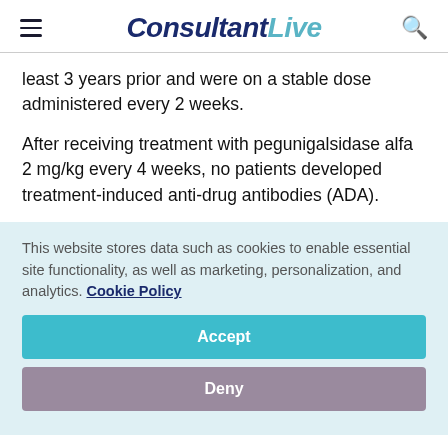ConsultantLive
least 3 years prior and were on a stable dose administered every 2 weeks.
After receiving treatment with pegunigalsidase alfa 2 mg/kg every 4 weeks, no patients developed treatment-induced anti-drug antibodies (ADA).
This website stores data such as cookies to enable essential site functionality, as well as marketing, personalization, and analytics. Cookie Policy
Accept
Deny